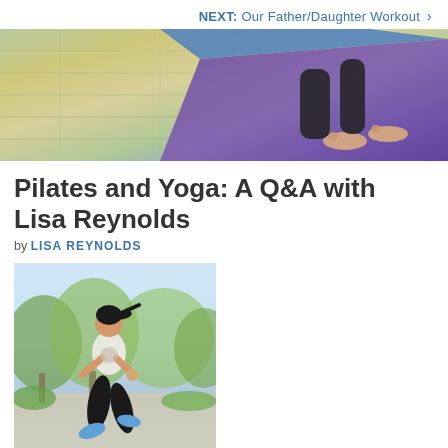NEXT: Our Father/Daughter Workout >
[Figure (photo): Person on a yoga mat on a wooden floor, feet visible, purple/blue mat]
Pilates and Yoga: A Q&A with Lisa Reynolds
by LISA REYNOLDS
[Figure (photo): Woman jogging outdoors in athletic wear, black leggings and white top, trees in background]